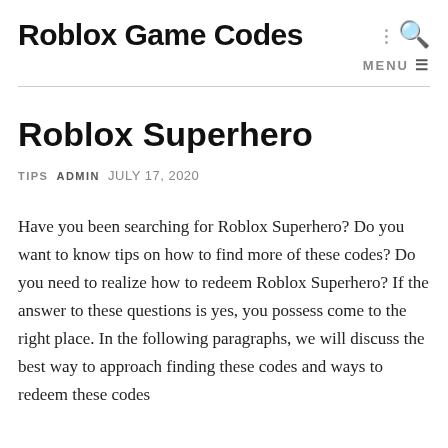Roblox Game Codes
Roblox Superhero
TIPS  ADMIN  JULY 17, 2020
Have you been searching for Roblox Superhero? Do you want to know tips on how to find more of these codes? Do you need to realize how to redeem Roblox Superhero? If the answer to these questions is yes, you possess come to the right place. In the following paragraphs, we will discuss the best way to approach finding these codes and ways to redeem these codes